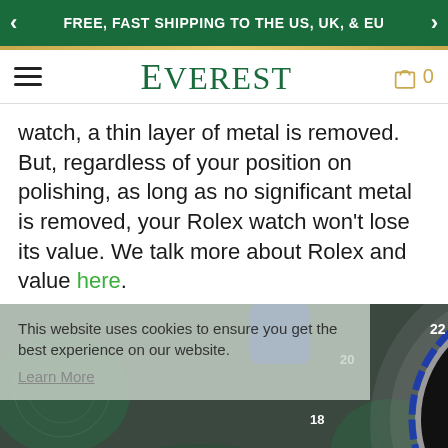FREE, FAST SHIPPING TO THE US, UK, & EU
EVEREST
watch, a thin layer of metal is removed. But, regardless of your position on polishing, as long as no significant metal is removed, your Rolex watch won't lose its value. We talk more about Rolex and value here.
[Figure (photo): A Rolex GMT-Master II watch with black and blue bezel and blue rubber strap, photographed close-up against a green background. A cookie consent overlay appears in the upper left.]